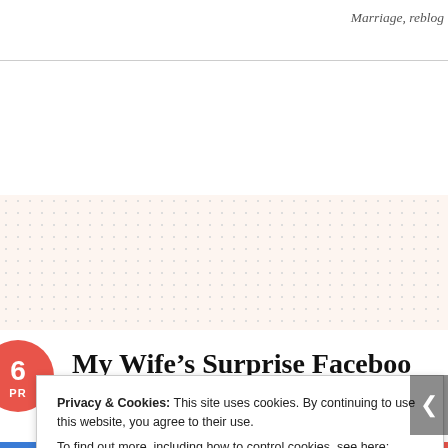Marriage, reblog
My Wife's Surprise Faceboo
★★★★★ ℹ 4 Votes
Privacy & Cookies: This site uses cookies. By continuing to use this website, you agree to their use.
To find out more, including how to control cookies, see here: Cookie Policy
Close and accept